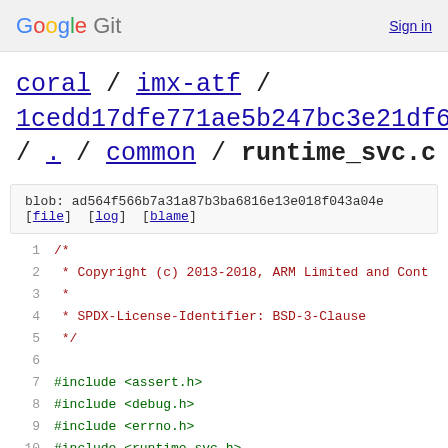Google Git   Sign in
coral / imx-atf / 1cedd17dfe771ae5b247bc3e21df60fd5f77609b / . / common / runtime_svc.c
blob: ad564f566b7a31a87b3ba6816e13e018f043a04e
[file] [log] [blame]
[Figure (screenshot): Source code view showing lines 1-10 of runtime_svc.c with line numbers and syntax highlighted code including copyright comment block and #include directives]